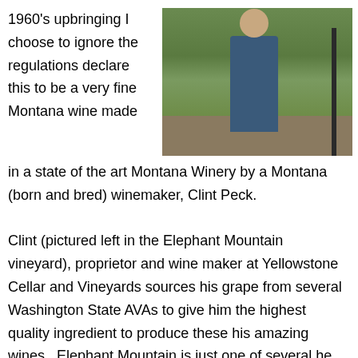1960's upbringing I choose to ignore the regulations declare this to be a very fine Montana wine made in a state of the art Montana Winery by a Montana (born and bred) winemaker, Clint Peck.
[Figure (photo): Outdoor photo of a man (Clint Peck) standing in the Elephant Mountain vineyard among grapevines and trees.]
Clint (pictured left in the Elephant Mountain vineyard), proprietor and wine maker at Yellowstone Cellar and Vineyards sources his grape from several Washington State AVAs to give him the highest quality ingredient to produce these his amazing wines.  Elephant Mountain is just one of several he utilizes.  His understanding of soils, growing seasons and moisture requirements to produce the absolute best quality wine is amazing.  Elephant Mountain...